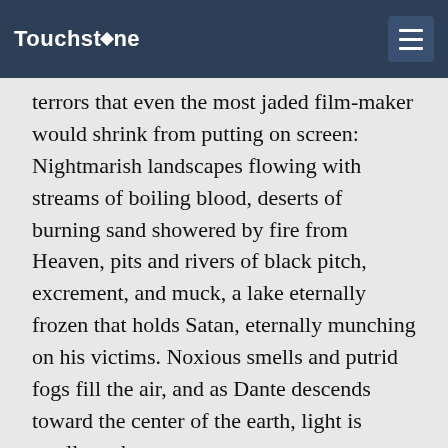Touchstone
terrors that even the most jaded film-maker would shrink from putting on screen: Nightmarish landscapes flowing with streams of boiling blood, deserts of burning sand showered by fire from Heaven, pits and rivers of black pitch, excrement, and muck, a lake eternally frozen that holds Satan, eternally munching on his victims. Noxious smells and putrid fogs fill the air, and as Dante descends toward the center of the earth, light is swallowed